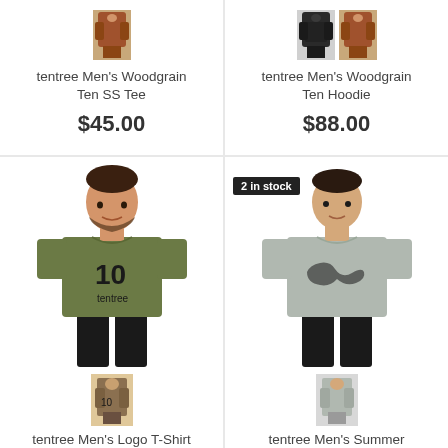[Figure (photo): tentree Men's Woodgrain Ten SS Tee product thumbnail - brown hoodie small image]
tentree Men's Woodgrain Ten SS Tee
$45.00
[Figure (photo): tentree Men's Woodgrain Ten Hoodie product thumbnails - black and brown hoodie small images]
tentree Men's Woodgrain Ten Hoodie
$88.00
[Figure (photo): Man wearing olive green tentree Logo T-Shirt with large 10 logo, plus small brown thumbnail below]
tentree Men's Logo T-Shirt
[Figure (photo): Man wearing grey tentree Summer Guitar T-Shirt with guitar graphic, stock badge '2 in stock', plus grey thumbnail below]
tentree Men's Summer Guitar T-Shirt